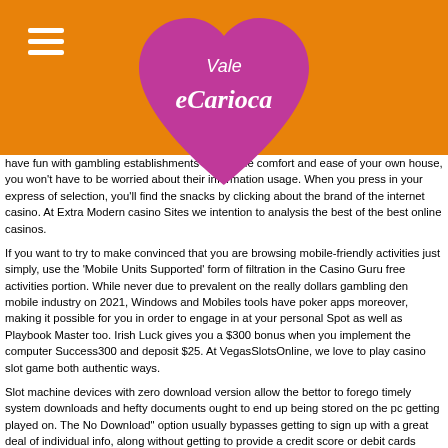[Figure (logo): Vale Carioca logo — pink/purple heart shape with white text 'eCarioca' and 'Vale' above, on orange background]
have fun with gambling establishments only in the comfort and ease of your own house, you won't have to be worried about their information usage. When you press in your express of selection, you'll find the snacks by clicking about the brand of the internet casino. At Extra Modern casino Sites we intention to analysis the best of the best online casinos.
If you want to try to make convinced that you are browsing mobile-friendly activities just simply, use the 'Mobile Units Supported' form of filtration in the Casino Guru free activities portion. While never due to prevalent on the really dollars gambling den mobile industry on 2021, Windows and Mobiles tools have poker apps moreover, making it possible for you in order to engage in at your personal Spot as well as Playbook Master too. Irish Luck gives you a $300 bonus when you implement the computer Success300 and deposit $25. At VegasSlotsOnline, we love to play casino slot game both authentic ways.
Slot machine devices with zero download version allow the bettor to forego timely system downloads and hefty documents ought to end up being stored on the pc getting played on. The No Download" option usually bypasses getting to sign up with a great deal of individual info, along without getting to provide a credit score or debit cards quantity, or a lowest put in to continue. As a result yes, we make avallable free of cost wireless spots with hardly any money. Far too, Unavailability